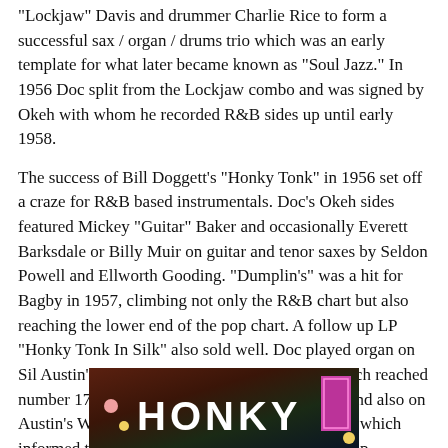"Lockjaw" Davis and drummer Charlie Rice to form a successful sax / organ / drums trio which was an early template for what later became known as "Soul Jazz." In 1956 Doc split from the Lockjaw combo and was signed by Okeh with whom he recorded R&B sides up until early 1958.
The success of Bill Doggett's "Honky Tonk" in 1956 set off a craze for R&B based instrumentals. Doc's Okeh sides featured Mickey "Guitar" Baker and occasionally Everett Barksdale or Billy Muir on guitar and tenor saxes by Seldon Powell and Ellworth Gooding. "Dumplin's" was a hit for Bagby in 1957, climbing not only the R&B chart but also reaching the lower end of the pop chart. A follow up LP "Honky Tonk In Silk" also sold well. Doc played organ on Sil Austin's big instrumental hit "Slow Walk" which reached number 17 on the pop charts in November 1956 and also on Austin's Wing LP "Slow Walk Rock" the cover of which informed the public that this was "an album for 'hip dancers'."
[Figure (photo): Album cover photo showing the text HONKY on a dark background with colored decorative elements including dots and a pink/magenta rectangular label on the right side.]